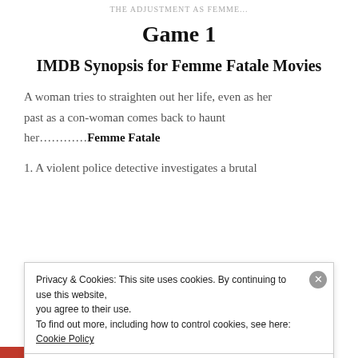THE ADJUSTMENT AS FEMME...
Game 1
IMDB Synopsis for Femme Fatale Movies
A woman tries to straighten out her life, even as her past as a con-woman comes back to haunt her..........Femme Fatale
1. A violent police detective investigates a brutal
Privacy & Cookies: This site uses cookies. By continuing to use this website, you agree to their use.
To find out more, including how to control cookies, see here: Cookie Policy
Close and accept